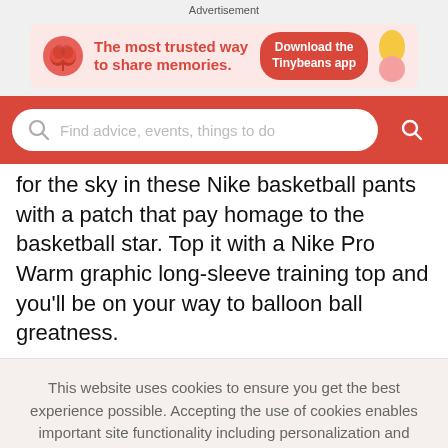Advertisement
[Figure (illustration): Tinybeans app advertisement banner: red icon of plant/sprout, text 'The most trusted way to share memories.' and a red 'Download the Tinybeans app' button with decorative yellow/pink shapes]
[Figure (screenshot): Red search bar with white rounded search input field showing placeholder 'Find advice, events, things to do' and a red circular search button]
for the sky in these Nike basketball pants with a patch that pay homage to the basketball star. Top it with a Nike Pro Warm graphic long-sleeve training top and you'll be on your way to balloon ball greatness.
This website uses cookies to ensure you get the best experience possible. Accepting the use of cookies enables important site functionality including personalization and analytics.
Accept
Decline